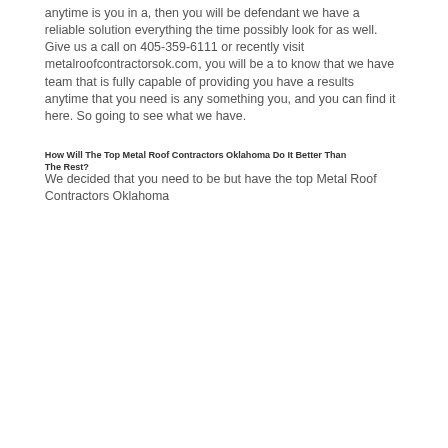anytime is you in a, then you will be defendant we have a reliable solution everything the time possibly look for as well. Give us a call on 405-359-6111 or recently visit metalroofcontractorsok.com, you will be a to know that we have team that is fully capable of providing you have a results anytime that you need is any something you, and you can find it here. So going to see what we have.
How Will The Top Metal Roof Contractors Oklahoma Do It Better Than The Rest?
We decided that you need to be but have the top Metal Roof Contractors Oklahoma…